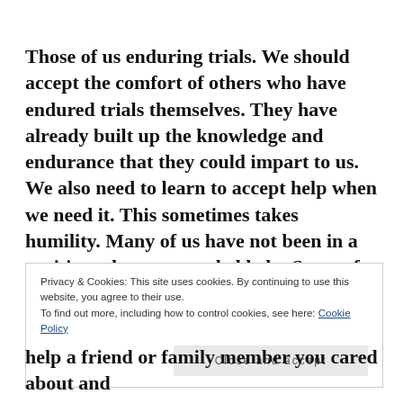Those of us enduring trials. We should accept the comfort of others who have endured trials themselves. They have already built up the knowledge and endurance that they could impart to us. We also need to learn to accept help when we need it. This sometimes takes humility. Many of us have not been in a position where we needed help. Some of us do not want to be a burden on others. When we except help
Privacy & Cookies: This site uses cookies. By continuing to use this website, you agree to their use.
To find out more, including how to control cookies, see here: Cookie Policy
Close and accept
help a friend or family member you cared about and